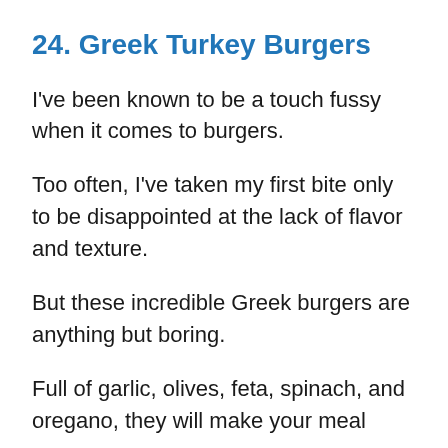24. Greek Turkey Burgers
I've been known to be a touch fussy when it comes to burgers.
Too often, I've taken my first bite only to be disappointed at the lack of flavor and texture.
But these incredible Greek burgers are anything but boring.
Full of garlic, olives, feta, spinach, and oregano, they will make your meal even